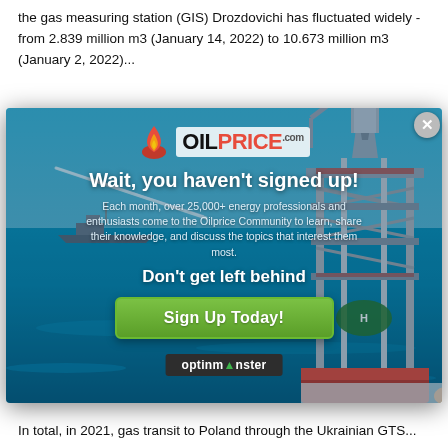the gas measuring station (GIS) Drozdovichi has fluctuated widely - from 2.839 million m3 (January 14, 2022) to 10.673 million m3 (January 2, 2022)...
[Figure (screenshot): OilPrice.com modal popup advertisement over an article. Shows OilPrice logo, headline 'Wait, you haven't signed up!', subtext about 25,000+ energy professionals, 'Don't get left behind' CTA, and a green 'Sign Up Today!' button. Background shows an offshore oil rig on blue ocean water. A close (X) button is in the top right corner. An OptinMonster badge is shown at the bottom.]
million m3, incl. through well logging Uzhgorod (to Slovakia) 27.285 million m3, well logging Beregovo (Hungary) 3.408 million m3, well logging Orlovka (Romania) - 4.027 million m3, to Moldova - 13.238 million m3.
In total, in 2021, gas transit to Poland through the Ukrainian GTS...